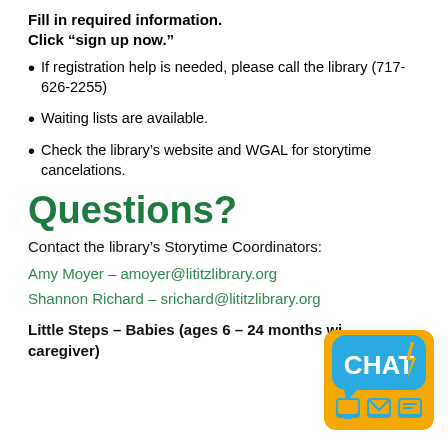Fill in required information.
Click “sign up now.”
If registration help is needed, please call the library (717-626-2255)
Waiting lists are available.
Check the library’s website and WGAL for storytime cancelations.
Questions?
Contact the library’s Storytime Coordinators:
Amy Moyer – amoyer@lititzlibrary.org
Shannon Richard – srichard@lititzlibrary.org
[Figure (logo): CHAT logo badge with yellow background, blue speech bubble with lightning bolt, and icons for chat/email/phone]
Little Steps – Babies (ages 6 – 24 months with caregiver)